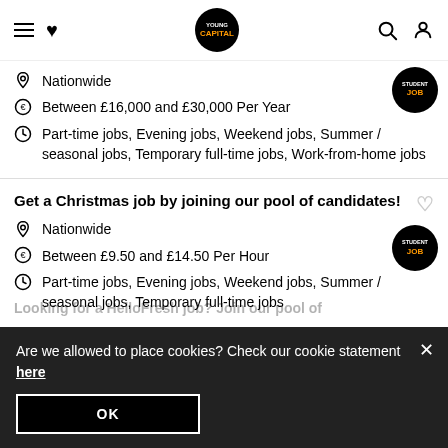YoungCapital navigation bar with hamburger menu, heart, logo, search, and user icons
Nationwide
Between £16,000 and £30,000 Per Year
Part-time jobs, Evening jobs, Weekend jobs, Summer / seasonal jobs, Temporary full-time jobs, Work-from-home jobs
Get a Christmas job by joining our pool of candidates!
Nationwide
Between £9.50 and £14.50 Per Hour
Part-time jobs, Evening jobs, Weekend jobs, Summer / seasonal jobs, Temporary full-time jobs
Are we allowed to place cookies? Check our cookie statement here
OK